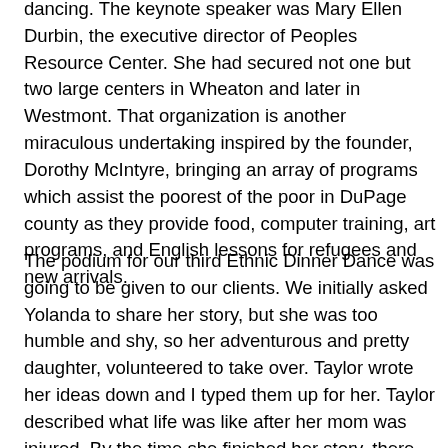dancing. The keynote speaker was Mary Ellen Durbin, the executive director of Peoples Resource Center. She had secured not one but two large centers in Wheaton and later in Westmont. That organization is another miraculous undertaking inspired by the founder, Dorothy McIntyre, bringing an array of programs which assist the poorest of the poor in DuPage county as they provide food, computer training, art programs, and English lessons for refugees and new arrivals.
The podium for our third Ethnic Dinner Dance was going to be given to our clients. We initially asked Yolanda to share her story, but she was too humble and shy, so her adventurous and pretty daughter, volunteered to take over. Taylor wrote her ideas down and I typed them up for her. Taylor described what life was like after her mom was injured. By the time she finished her story, there was not one dry eye in that room. Dr. Johnson came up to speak, wiping his eyes also. He was planning to discuss what do patients like Yolanda go through when they endure skeletal injuries